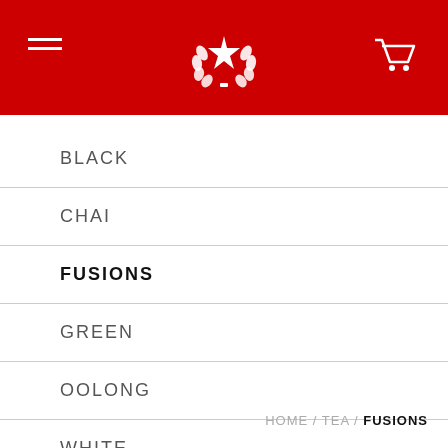Navigation header with logo, hamburger menu, and cart icon
BLACK
CHAI
FUSIONS
GREEN
OOLONG
WHITE
HOME / TEA / FUSIONS